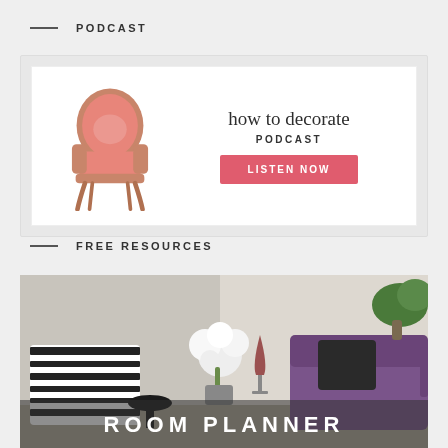PODCAST
[Figure (illustration): How to Decorate Podcast banner with pink armchair and LISTEN NOW button]
FREE RESOURCES
[Figure (photo): Room planner card with interior decor photo showing zebra print chair, white flowers, wine glass, and purple sofa with text ROOM PLANNER overlaid]